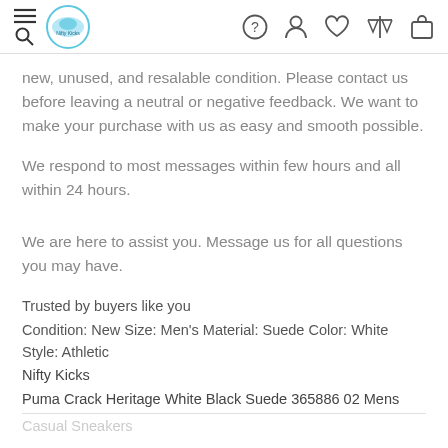Nifty Kicks — navigation header with menu, logo, help, account, wishlist, compare, cart icons
new, unused, and resalable condition. Please contact us before leaving a neutral or negative feedback. We want to make your purchase with us as easy and smooth possible.
We respond to most messages within few hours and all within 24 hours.
We are here to assist you. Message us for all questions you may have.
Trusted by buyers like you
Condition: New Size: Men's Material: Suede Color: White Style: Athletic
Nifty Kicks
Puma Crack Heritage White Black Suede 365886 02 Mens Casual Sneakers